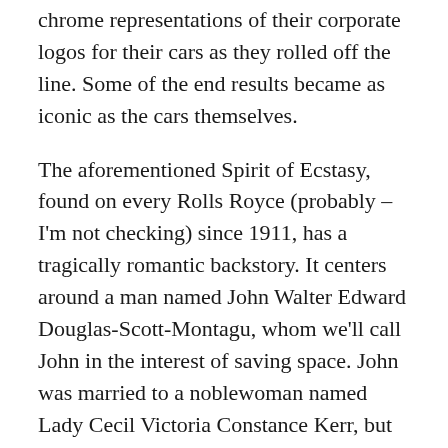chrome representations of their corporate logos for their cars as they rolled off the line. Some of the end results became as iconic as the cars themselves.
The aforementioned Spirit of Ecstasy, found on every Rolls Royce (probably – I'm not checking) since 1911, has a tragically romantic backstory. It centers around a man named John Walter Edward Douglas-Scott-Montagu, whom we'll call John in the interest of saving space. John was married to a noblewoman named Lady Cecil Victoria Constance Kerr, but he was secretly in love with his secretary, a commoner named Eleanor Thornton. John was an auto enthusiast, working as editor of The Car Illustrated beginning in 1902. Their close circle of friends knew of the affair, but they kept quiet.